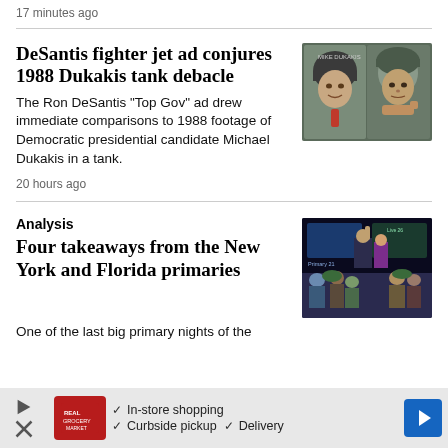17 minutes ago
DeSantis fighter jet ad conjures 1988 Dukakis tank debacle
[Figure (photo): Side-by-side of Michael Dukakis in a tank helmet and a man in military gear]
The Ron DeSantis “Top Gov” ad drew immediate comparisons to 1988 footage of Democratic presidential candidate Michael Dukakis in a tank.
20 hours ago
Analysis
Four takeaways from the New York and Florida primaries
[Figure (photo): People gathered at a political event, man raising hand on stage]
One of the last big primary nights of the
[Figure (infographic): Advertisement bar: In-store shopping, Curbside pickup, Delivery]